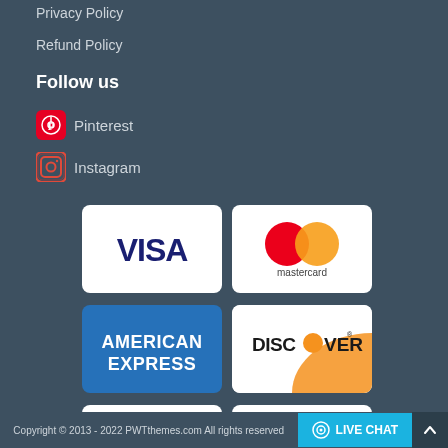Privacy Policy
Refund Policy
Follow us
Pinterest
Instagram
[Figure (infographic): Payment method logos grid: Visa, Mastercard, American Express, Discover, PayPal, Stripe]
Copyright © 2013 - 2022 PWTthemes.com All rights reserved